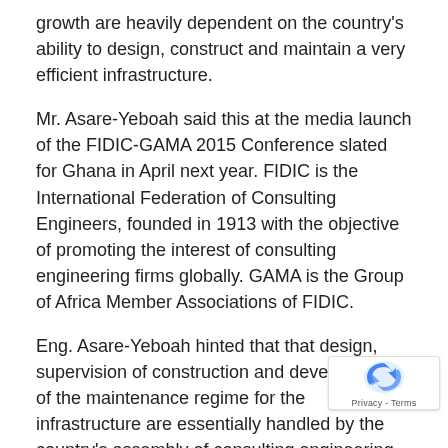growth are heavily dependent on the country's ability to design, construct and maintain a very efficient infrastructure.
Mr. Asare-Yeboah said this at the media launch of the FIDIC-GAMA 2015 Conference slated for Ghana in April next year. FIDIC is the International Federation of Consulting Engineers, founded in 1913 with the objective of promoting the interest of consulting engineering firms globally. GAMA is the Group of Africa Member Associations of FIDIC.
Eng. Asare-Yeboah hinted that that design, supervision of construction and development of the maintenance regime for the infrastructure are essentially handled by the country's assembly of consulting engineering firms.
“With...